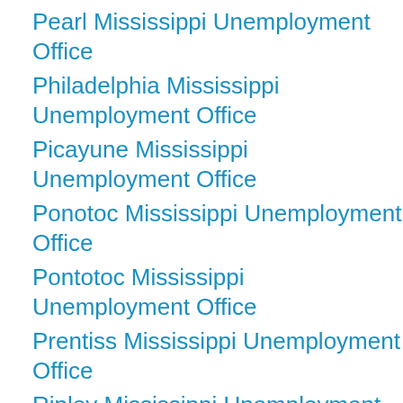Pearl Mississippi Unemployment Office
Philadelphia Mississippi Unemployment Office
Picayune Mississippi Unemployment Office
Ponotoc Mississippi Unemployment Office
Pontotoc Mississippi Unemployment Office
Prentiss Mississippi Unemployment Office
Ripley Mississippi Unemployment Office
Rolling Fork Mississippi Unemployment Office
Senatobia Mississippi Unemployment Office
Need Additional Help? We are here